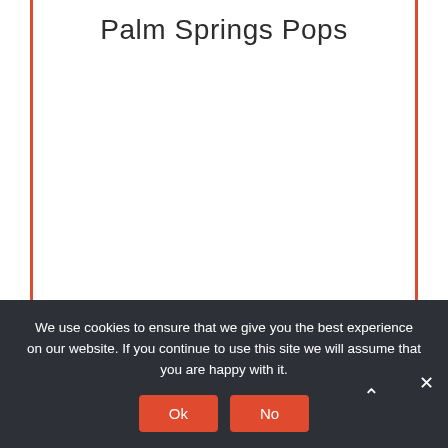Palm Springs Pops
We use cookies to ensure that we give you the best experience on our website. If you continue to use this site we will assume that you are happy with it.